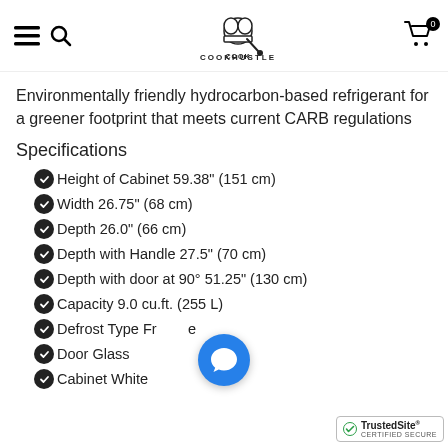COOKHUSTLE — navigation header with cart (0)
Environmentally friendly hydrocarbon-based refrigerant for a greener footprint that meets current CARB regulations
Specifications
Height of Cabinet 59.38" (151 cm)
Width 26.75" (68 cm)
Depth 26.0" (66 cm)
Depth with Handle 27.5" (70 cm)
Depth with door at 90° 51.25" (130 cm)
Capacity 9.0 cu.ft. (255 L)
Defrost Type Free
Door Glass
Cabinet White